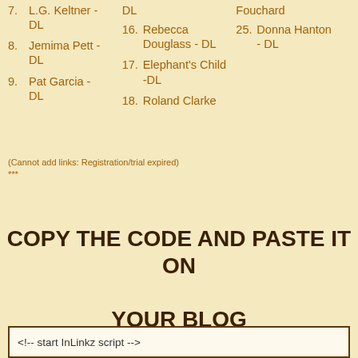7. L.G. Keltner - DL
8. Jemima Pett - DL
9. Pat Garcia - DL
16. Rebecca Douglass - DL
17. Elephant's Child -DL
18. Roland Clarke
25. Donna Hanton - DL
(Cannot add links: Registration/trial expired)
***
COPY THE CODE AND PASTE IT ON YOUR BLOG
<!-- start InLinkz script -->